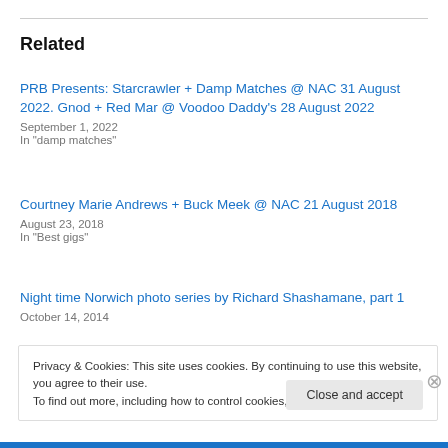Related
PRB Presents: Starcrawler + Damp Matches @ NAC 31 August 2022. Gnod + Red Mar @ Voodoo Daddy's 28 August 2022
September 1, 2022
In "damp matches"
Courtney Marie Andrews + Buck Meek @ NAC 21 August 2018
August 23, 2018
In "Best gigs"
Night time Norwich photo series by Richard Shashamane, part 1
October 14, 2014
Privacy & Cookies: This site uses cookies. By continuing to use this website, you agree to their use.
To find out more, including how to control cookies, see here: Cookie Policy